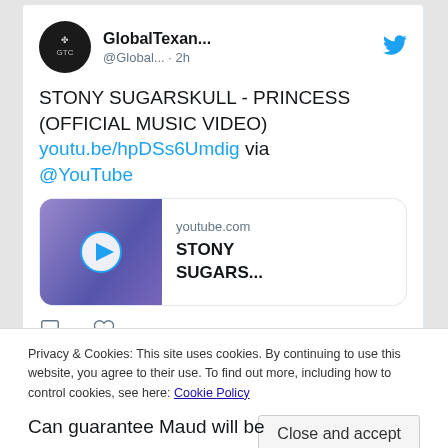[Figure (screenshot): Twitter/social media post by GlobalTexan... (@Global...) posted 2h ago. Tweet reads: STONY SUGARSKULL - PRINCESS (OFFICIAL MUSIC VIDEO) youtu.be/hpDSs6Umdig via @YouTube. Includes a YouTube video preview card showing youtube.com and STONY SUGARS... title. Comment and like icons at bottom.]
Privacy & Cookies: This site uses cookies. By continuing to use this website, you agree to their use. To find out more, including how to control cookies, see here: Cookie Policy
Close and accept
Can guarantee Maud will be